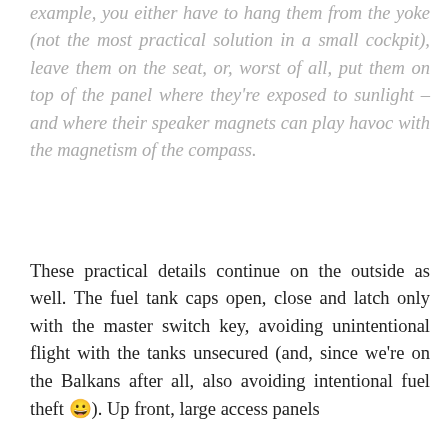example, you either have to hang them from the yoke (not the most practical solution in a small cockpit), leave them on the seat, or, worst of all, put them on top of the panel where they're exposed to sunlight – and where their speaker magnets can play havoc with the magnetism of the compass.
These practical details continue on the outside as well. The fuel tank caps open, close and latch only with the master switch key, avoiding unintentional flight with the tanks unsecured (and, since we're on the Balkans after all, also avoiding intentional fuel theft 😀). Up front, large access panels